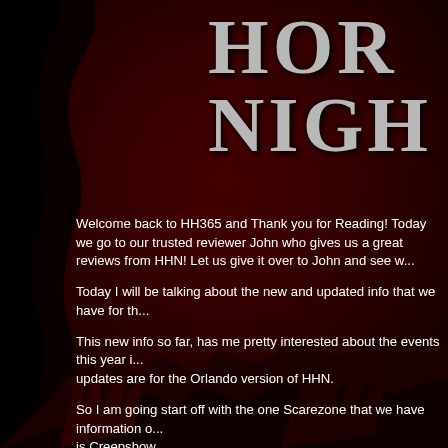[Figure (illustration): Horror Nights (HHN) logo/title card with large stylized text reading 'HOR' and 'NIGH' partially visible, set against a dark black and deep red background with silhouetted horror figures]
Welcome back to HH365 and Thank you for Reading! Today we go to our trusted reviewer John who gives us a great reviews from HHN! Let us give it over to John and see w...
Today I will be talking about the new and updated info that we have for th...
This new info so far, has me pretty interested about the events this year i... updates are for the Orlando version of HHN.
So I am going start off with the one Scarezone that we have information o... is Creepshow.
Creepshow Scarezone is going to be based around the comic book serie... that's currently out which is produced by Jordan Peele. I am pretty happy... Hollywood event they used Creepshow as a house. I wonder why Orland... would be one amazing zone.